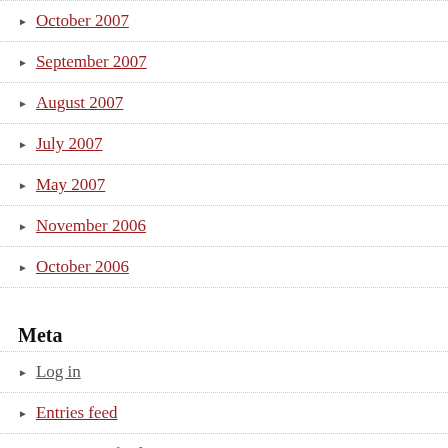October 2007
September 2007
August 2007
July 2007
May 2007
November 2006
October 2006
Meta
Log in
Entries feed
Comments feed
WordPress.org